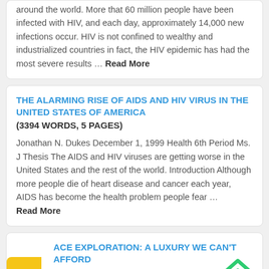around the world. More that 60 million people have been infected with HIV, and each day, approximately 14,000 new infections occur. HIV is not confined to wealthy and industrialized countries in fact, the HIV epidemic has had the most severe results ... Read More
THE ALARMING RISE OF AIDS AND HIV VIRUS IN THE UNITED STATES OF AMERICA
(3394 WORDS, 5 PAGES)
Jonathan N. Dukes December 1, 1999 Health 6th Period Ms. J Thesis The AIDS and HIV viruses are getting worse in the United States and the rest of the world. Introduction Although more people die of heart disease and cancer each year, AIDS has become the health problem people fear ... Read More
ACE EXPLORATION: A LUXURY WE CAN'T AFFORD
(026 WORDS, 2 PAGES)